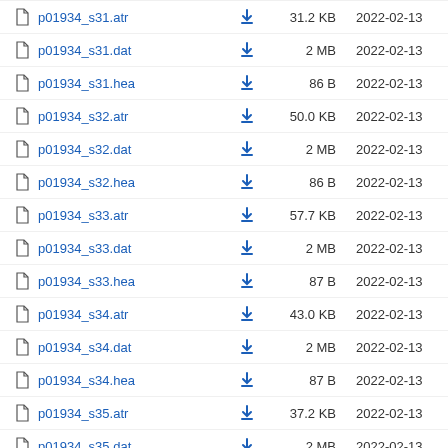p01934_s31.atr  31.2 KB  2022-02-13
p01934_s31.dat  2 MB  2022-02-13
p01934_s31.hea  86 B  2022-02-13
p01934_s32.atr  50.0 KB  2022-02-13
p01934_s32.dat  2 MB  2022-02-13
p01934_s32.hea  86 B  2022-02-13
p01934_s33.atr  57.7 KB  2022-02-13
p01934_s33.dat  2 MB  2022-02-13
p01934_s33.hea  87 B  2022-02-13
p01934_s34.atr  43.0 KB  2022-02-13
p01934_s34.dat  2 MB  2022-02-13
p01934_s34.hea  87 B  2022-02-13
p01934_s35.atr  37.2 KB  2022-02-13
p01934_s35.dat  2 MB  2022-02-13